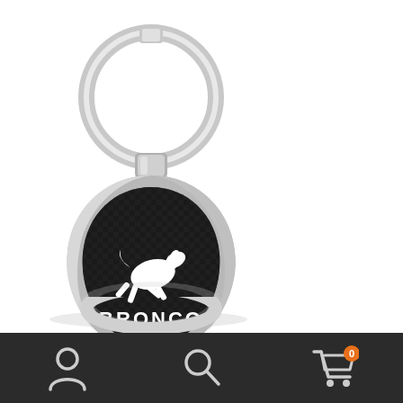[Figure (photo): A Ford Bronco teardrop-shaped keychain with a silver metal frame, black carbon fiber inlay, white bucking bronco horse logo, and white BRONCO text. A split ring is at the top. The keychain is reflected partially at the bottom of the image on a white background.]
[Figure (screenshot): Dark bottom navigation bar with three icons: a person/account icon on the left, a search/magnifying glass icon in the center, and a shopping cart icon with an orange badge showing '0' on the right.]